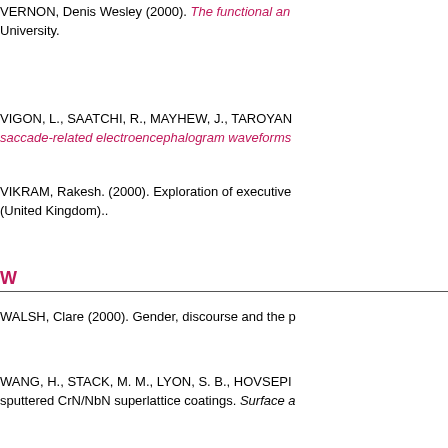VERNON, Denis Wesley (2000). The functional an... University.
VIGON, L., SAATCHI, R., MAYHEW, J., TAROYAN... saccade-related electroencephalogram waveforms...
VIKRAM, Rakesh. (2000). Exploration of executive... (United Kingdom)..
W
WALSH, Clare (2000). Gender, discourse and the p...
WANG, H., STACK, M. M., LYON, S. B., HOVSEPI... sputtered CrN/NbN superlattice coatings. Surface a...
WANG, H. W., STACK, M. M., LYON, S. B., HOVS... arc/unbalanced magnetron sputtered CrN/NbN sup... 90.
WANG, Li (2000). Value-added as a performance i...